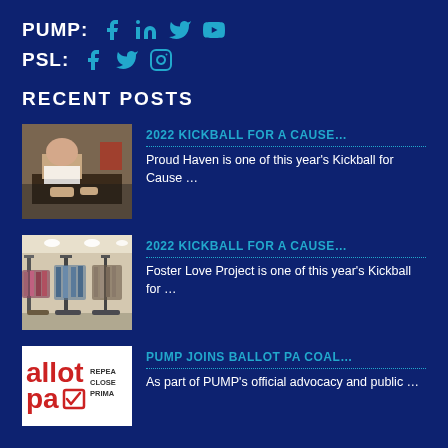PUMP: [facebook] [linkedin] [twitter] [youtube]
PSL: [facebook] [twitter] [instagram]
RECENT POSTS
[Figure (photo): Photo of person working at a table, likely volunteer or event activity]
2022 KICKBALL FOR A CAUSE…
Proud Haven is one of this year's Kickball for Cause …
[Figure (photo): Photo of clothing store interior with racks of clothing]
2022 KICKBALL FOR A CAUSE…
Foster Love Project is one of this year's Kickball for …
[Figure (logo): Ballot PA logo with text REPEAL CLOSE PRIMA]
PUMP JOINS BALLOT PA COAL…
As part of PUMP's official advocacy and public …